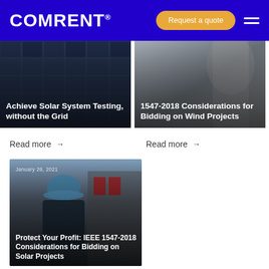COMRENT® — Request a quote
[Figure (photo): Solar panels on a rooftop with dark overlay, article card]
Achieve Solar System Testing, without the Grid
[Figure (photo): Wind turbine component close-up with dark overlay, article card]
1547-2018 Considerations for Bidding on Wind Projects
Read more →
Read more →
[Figure (photo): Worker in blue hard hat and safety gear inspecting electrical equipment, dated January 26, 2021]
Protect Your Profit: IEEE 1547-2018 Considerations for Bidding on Solar Projects